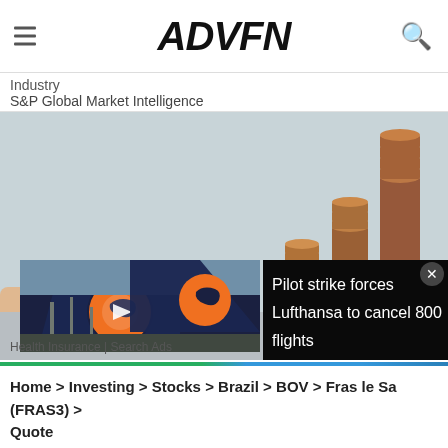ADVFN
Industry
S&P Global Market Intelligence
[Figure (photo): Photo of stacked coins in increasing height columns suggesting growth, with a hand placing a wooden block with letter W in foreground. Overlaid video thumbnail showing Lufthansa airplane tail fin with orange crane logo and text: Pilot strike forces Lufthansa to cancel 800 flights]
Health Insurance | Search Ads
Home > Investing > Stocks > Brazil > BOV > Fras le Sa (FRAS3) > Quote